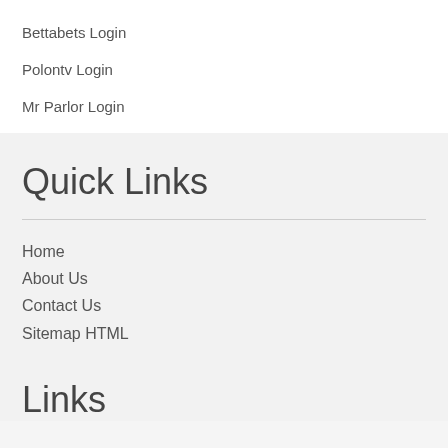Bettabets Login
Polontv Login
Mr Parlor Login
Quick Links
Home
About Us
Contact Us
Sitemap HTML
Links